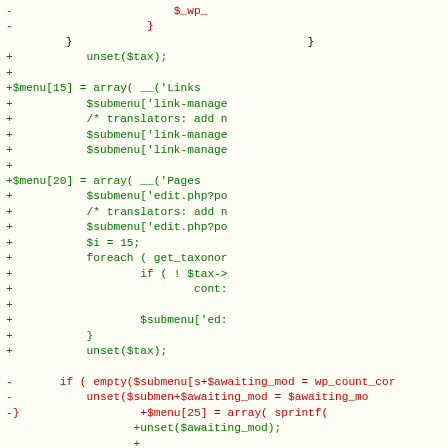[Figure (screenshot): A code diff screenshot showing removed lines in red and added lines in green, displaying PHP code for WordPress menu definitions including $menu, $submenu, unset, foreach, and related constructs.]